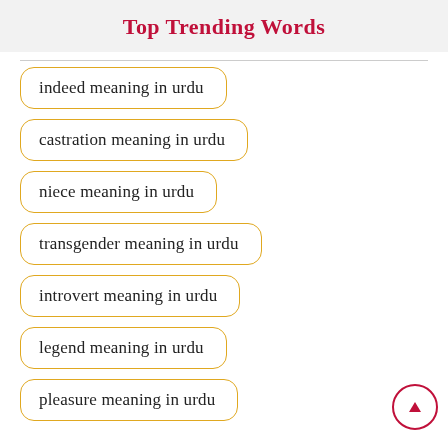Top Trending Words
indeed meaning in urdu
castration meaning in urdu
niece meaning in urdu
transgender meaning in urdu
introvert meaning in urdu
legend meaning in urdu
pleasure meaning in urdu